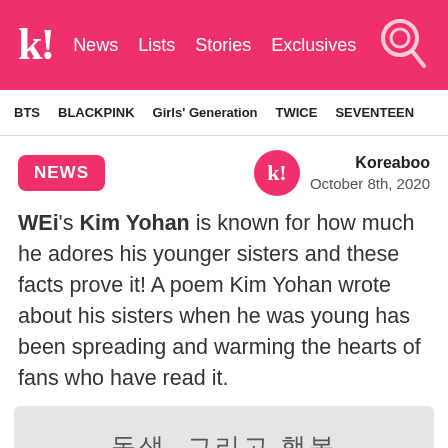k! News Lists Stories Exclusives
BTS BLACKPINK Girls' Generation TWICE SEVENTEEN
NEWS
Koreaboo October 8th, 2020
WEi's Kim Yohan is known for how much he adores his younger sisters and these facts prove it! A poem Kim Yohan wrote about his sisters when he was young has been spreading and warming the hearts of fans who have read it.
[Figure (photo): Korean handwritten text reading 동생, 그리고 행복 on white paper background]